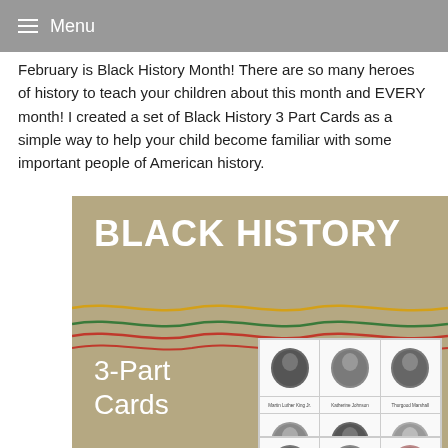Menu
February is Black History Month! There are so many heroes of history to teach your children about this month and EVERY month! I created a set of Black History 3 Part Cards as a simple way to help your child become familiar with some important people of American history.
[Figure (illustration): Black History 3-Part Cards product image showing a tan/beige background with 'BLACK HISTORY' in bold white text, three wavy lines in yellow, green, and red, the text '3-Part Cards' in white, and a grid of historical figures including Martin Luther King Jr., Katherine Johnson, Thurgood Marshall, Sojourner Truth, Carter G. Woodson, Rosa Parks, and others shown in oval portrait frames with name labels.]